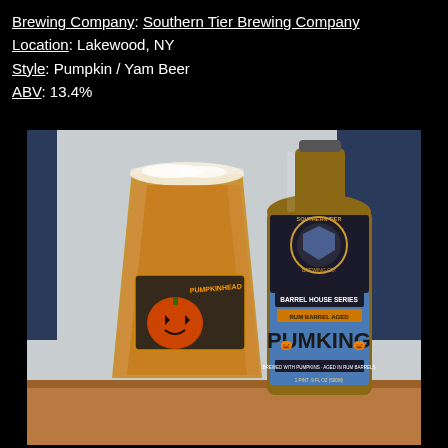Brewing Company: Southern Tier Brewing Company
Location: Lakewood, NY
Style: Pumpkin / Yam Beer
ABV: 13.4%
[Figure (photo): Photo of a pint glass with a Pumpkinhead beer label featuring a jack-o-lantern, next to a Southern Tier Brewing Co. bottle labeled 'Barrel House Series Rum Barrel Aged Pumking', sitting on a wooden surface against a light background with blue wall elements.]